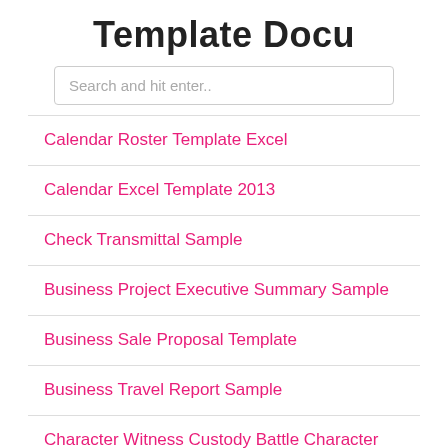Template Docu
Search and hit enter..
Calendar Roster Template Excel
Calendar Excel Template 2013
Check Transmittal Sample
Business Project Executive Summary Sample
Business Sale Proposal Template
Business Travel Report Sample
Character Witness Custody Battle Character Reference Letter For Court Child Custody Template
Car Accident Written Statement Sample
Business Trip Budget Template